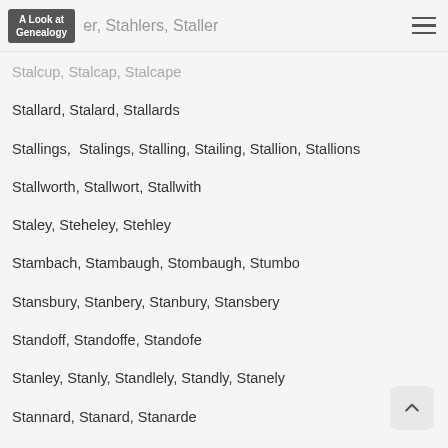A Look at Genealogy — Stahler, Stahlers, Staller
Stalcup, Stalcap, Stalcape
Stallard, Stalard, Stallards
Stallings,  Stalings, Stalling, Stailing, Stallion, Stallions
Stallworth, Stallwort, Stallwith
Staley, Steheley, Stehley
Stambach, Stambaugh, Stombaugh, Stumbo
Stansbury, Stanbery, Stanbury, Stansbery
Standoff, Standoffe, Standofe
Stanley, Stanly, Standlely, Standly, Stanely
Stannard, Stanard, Stanarde